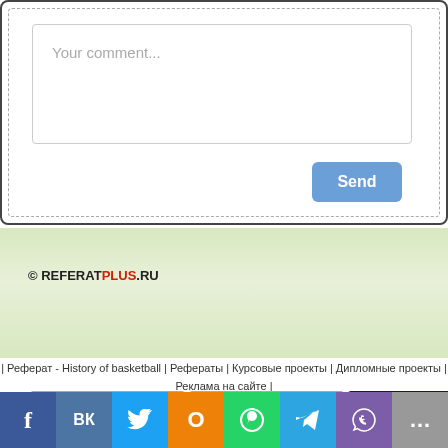[Figure (screenshot): Comment form with textarea showing placeholder 'Your comment...' and a blue 'Send' button]
© REFERATPLUS.RU
| Реферат - History of basketball | Рефераты | Курсовые проекты | Дипломные проекты | Реклама на сайте |
[Figure (screenshot): Row of rating badge icons: green stats badge (88/61/59), blue arrow badge (215/135/51), Рамблер ТОП100 badge, Рейтинг@ badge]
[Figure (screenshot): Social media sharing bar with icons for Facebook, VK, Twitter, Odnoklassniki, WhatsApp, Telegram, Viber]